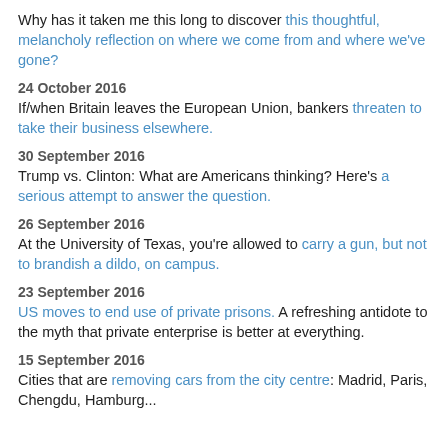Why has it taken me this long to discover this thoughtful, melancholy reflection on where we come from and where we've gone?
24 October 2016
If/when Britain leaves the European Union, bankers threaten to take their business elsewhere.
30 September 2016
Trump vs. Clinton: What are Americans thinking? Here's a serious attempt to answer the question.
26 September 2016
At the University of Texas, you're allowed to carry a gun, but not to brandish a dildo, on campus.
23 September 2016
US moves to end use of private prisons. A refreshing antidote to the myth that private enterprise is better at everything.
15 September 2016
Cities that are removing cars from the city centre: Madrid, Paris, Chengdu, Hamburg...